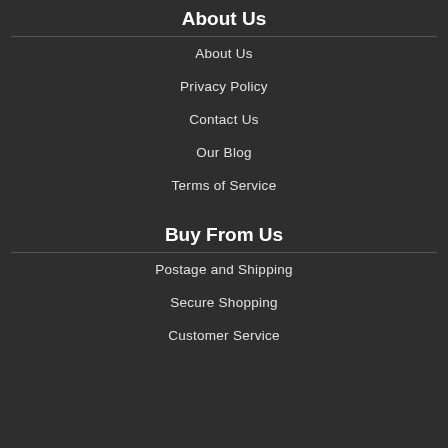About Us
About Us
Privacy Policy
Contact Us
Our Blog
Terms of Service
Buy From Us
Postage and Shipping
Secure Shopping
Customer Service